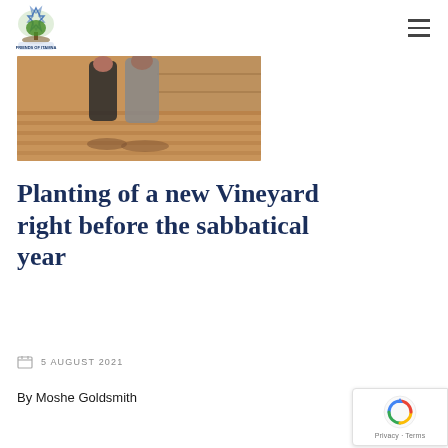Friends of Itamna — navigation logo and hamburger menu
[Figure (photo): Two women standing in a plowed vineyard field with reddish-brown soil, outdoors during daytime.]
Planting of a new Vineyard right before the sabbatical year
5 AUGUST 2021
By Moshe Goldsmith